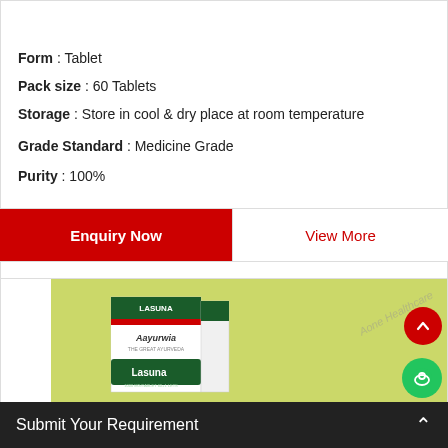Kidnia Tablets
Form : Tablet
Pack size : 60 Tablets
Storage : Store in cool & dry place at room temperature
Grade Standard : Medicine Grade
Purity : 100%
Enquiry Now
View More
[Figure (photo): Aayurwia Lasuna tablet product box on yellow-green background]
Submit Your Requirement